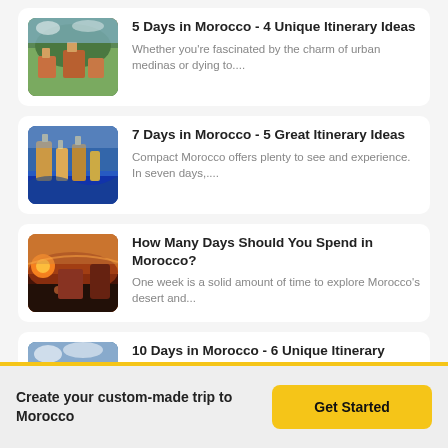5 Days in Morocco - 4 Unique Itinerary Ideas
Whether you're fascinated by the charm of urban medinas or dying to....
7 Days in Morocco - 5 Great Itinerary Ideas
Compact Morocco offers plenty to see and experience. In seven days,...
How Many Days Should You Spend in Morocco?
One week is a solid amount of time to explore Morocco's desert and...
10 Days in Morocco - 6 Unique Itinerary Ideas
While most travelers experience Morocco in a week, adding a few days to...
Morocco in November: Travel Tips, Weather, and More
Create your custom-made trip to Morocco
Get Started